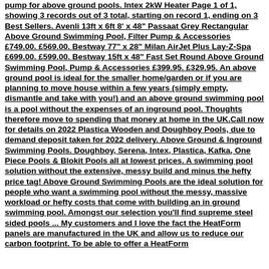pump for above ground pools. Intex 2kW Heater Page 1 of 1, showing 3 records out of 3 total, starting on record 1, ending on 3 Best Sellers. Avenli 13ft x 6ft 8' x 48" Passaat Grey Rectangular Above Ground Swimming Pool, Filter Pump & Accessories £749.00. £569.00. Bestway 77" x 28" Milan AirJet Plus Lay-Z-Spa £699.00. £599.00. Bestway 15ft x 48" Fast Set Round Above Ground Swimming Pool, Pump & Accessories £399.95. £329.95. An above ground pool is ideal for the smaller home/garden or if you are planning to move house within a few years (simply empty, dismantle and take with you!) and an above ground swimming pool is a pool without the expenses of an inground pool. Thoughts therefore move to spending that money at home in the UK.Call now for details on 2022 Plastica Wooden and Doughboy Pools, due to demand deposit taken for 2022 delivery. Above Ground & Inground Swimming Pools. Doughboy, Serena, Intex, Plastica, Kafka, One Piece Pools & Blokit Pools all at lowest prices. A swimming pool solution without the extensive, messy build and minus the hefty price tag! Above Ground Swimming Pools are the ideal solution for people who want a swimming pool without the messy, massive workload or hefty costs that come with building an in ground swimming pool. Amongst our selection you'll find supreme steel sided pools ... My customers and I love the fact the HeatForm panels are manufactured in the UK and allow us to reduce our carbon footprint. To be able to offer a HeatForm